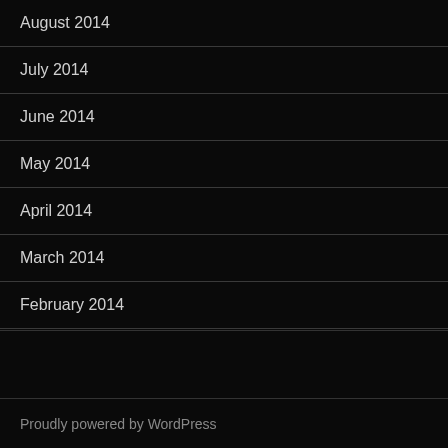August 2014
July 2014
June 2014
May 2014
April 2014
March 2014
February 2014
Proudly powered by WordPress